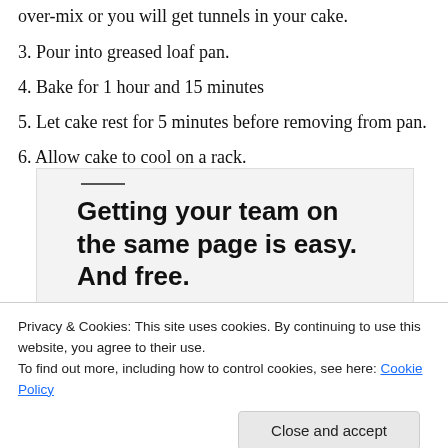over-mix or you will get tunnels in your cake.
3. Pour into greased loaf pan.
4. Bake for 1 hour and 15 minutes
5. Let cake rest for 5 minutes before removing from pan.
6. Allow cake to cool on a rack.
[Figure (screenshot): Advertisement banner with text 'Getting your team on the same page is easy. And free.' with profile photo avatars below including a blue circle icon.]
Privacy & Cookies: This site uses cookies. By continuing to use this website, you agree to their use.
To find out more, including how to control cookies, see here: Cookie Policy
Close and accept
Serve as is, or toasted with ice cream or whipped cream